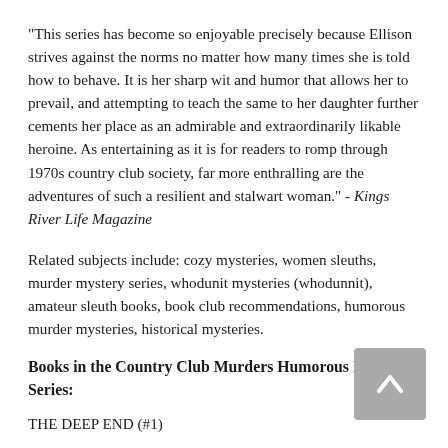"This series has become so enjoyable precisely because Ellison strives against the norms no matter how many times she is told how to behave. It is her sharp wit and humor that allows her to prevail, and attempting to teach the same to her daughter further cements her place as an admirable and extraordinarily likable heroine. As entertaining as it is for readers to romp through 1970s country club society, far more enthralling are the adventures of such a resilient and stalwart woman." - Kings River Life Magazine
Related subjects include: cozy mysteries, women sleuths, murder mystery series, whodunit mysteries (whodunnit), amateur sleuth books, book club recommendations, humorous murder mysteries, historical mysteries.
Books in the Country Club Murders Humorous Mystery Series:
THE DEEP END (#1)